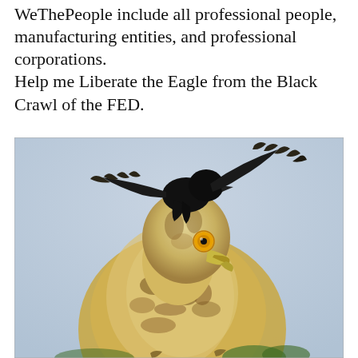WeThePeople include all professional people, manufacturing entities, and professional corporations.
Help me Liberate the Eagle from the Black Crawl of the FED.
[Figure (photo): A photograph of a large eagle (raptor) with brown and white speckled plumage and a striking yellow eye, being mobbed by a smaller black bird (crow/blackbird) sitting atop its head with wings spread wide. The background is a pale grey-blue sky.]